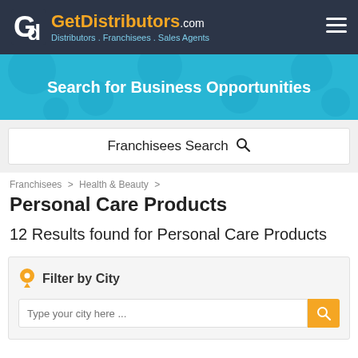[Figure (logo): GetDistributors.com logo with 'Gd' icon in white on dark background, orange 'GetDistributors' text, white '.com', and subtitle 'Distributors . Franchisees . Sales Agents' in light blue]
Search for Business Opportunities
Franchisees Search 🔍
Franchisees > Health & Beauty >
Personal Care Products
12 Results found for Personal Care Products
Filter by City
Type your city here ...